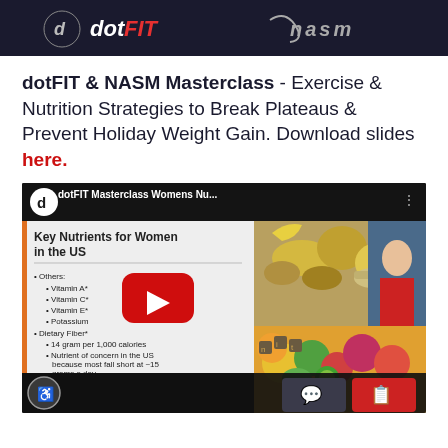[Figure (screenshot): Banner image showing dotFIT and NASM logos on dark background]
dotFIT & NASM Masterclass - Exercise & Nutrition Strategies to Break Plateaus & Prevent Holiday Weight Gain. Download slides here.
[Figure (screenshot): YouTube video thumbnail showing dotFIT Masterclass Womens Nutrition video with slide showing Key Nutrients for Women in the US including vitamins and dietary fiber information, alongside food photography images. Red play button in center.]